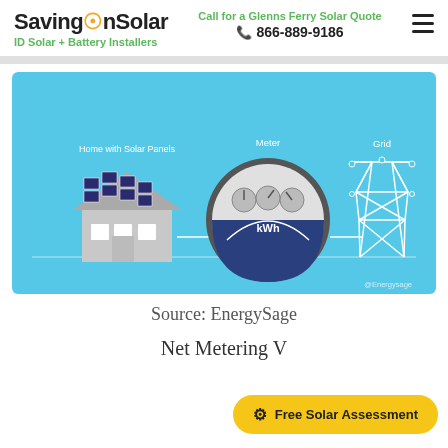SavingOnSolar — Call for a Glenns Ferry Solar Quote — 866-889-9186 — ID Solar + Battery Installers
[Figure (infographic): Illustration of a net metering system showing a home with solar panels on the left connected by a line to a utility meter (showing kWh) in the center, and a power grid transmission tower on the right. Background is light blue. Labels: 'Home with Solar Panels', 'Meter', 'Grid'. Attribution: @Energysage.]
Source: EnergySage
Net Metering W...
Free Solar Assessment